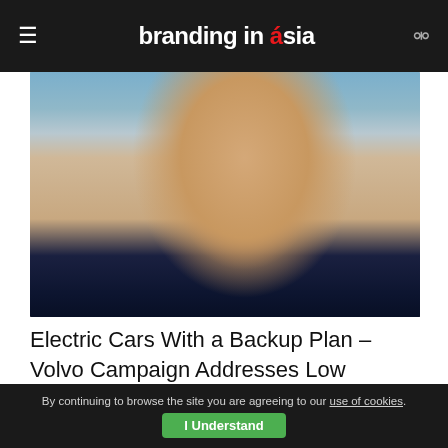branding in asia
[Figure (photo): Close-up portrait photo of an Asian man's face, from chin to forehead, wearing a dark suit jacket with a light collared shirt, against a blurred light blue/grey background.]
Electric Cars With a Backup Plan – Volvo Campaign Addresses Low Battery Anxiety
SEP 5, 2022
By continuing to browse the site you are agreeing to our use of cookies. I Understand